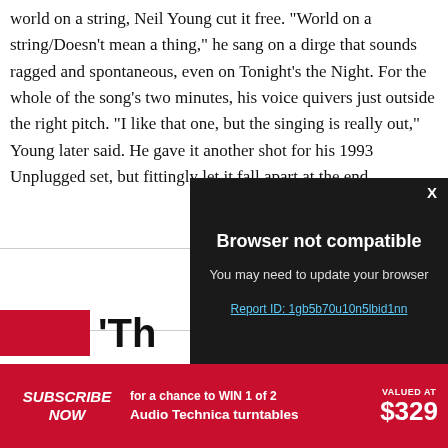world on a string, Neil Young cut it free. "World on a string/Doesn't mean a thing," he sang on a dirge that sounds ragged and spontaneous, even on Tonight's the Night. For the whole of the song's two minutes, his voice quivers just outside the right pitch. "I like that one, but the singing is really out," Young later said. He gave it another shot for his 1993 Unplugged set, but fittingly let it fall apart at the end.
[Figure (screenshot): Modal dialog overlay with dark background showing 'Browser not compatible' message with subtitle 'You may need to update your browser' and a report ID link. An X close button is in the upper right.]
[Figure (logo): Red rectangular block followed by partial bold black text 'Th' — partial section label at bottom left of page.]
SUBSCRIBE NOW  for a chance to WIN 1 of 2 Audio Technica turntables  VALUED AT $329